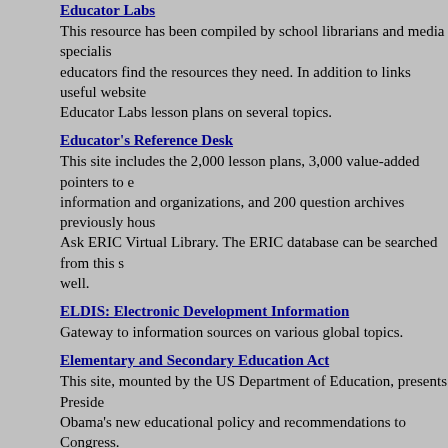Educator Labs
This resource has been compiled by school librarians and media specialists to help educators find the resources they need. In addition to links useful websites, Educator Labs lesson plans on several topics.
Educator's Reference Desk
This site includes the 2,000 lesson plans, 3,000 value-added pointers to education information and organizations, and 200 question archives previously housed at the Ask ERIC Virtual Library. The ERIC database can be searched from this site as well.
ELDIS: Electronic Development Information
Gateway to information sources on various global topics.
Elementary and Secondary Education Act
This site, mounted by the US Department of Education, presents President Obama's new educational policy and recommendations to Congress.
Gay, Lesbian, and Straight Education Network (GLSEN)
GLSEN works to eliminate anti-gay bias in schools. Featured on this site is an online resource library, curriculum materials, and an annotated bibliography of children's books with gay and lesbian characters.
Higher Education in the US of America and Canada
Directory by name or selected major programs of colleges and universities in the US and Canada.
HigherEdJobs.com
Searchable postings of jobs at all levels on over 600 US college and university campuses. Also provides a place to post your resume.